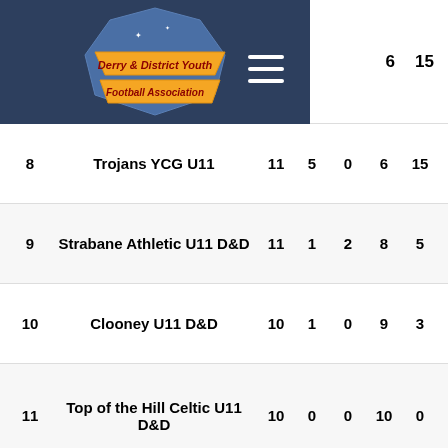[Figure (logo): Derry & District Youth Football Association logo on dark blue header bar]
| Pos | Team | P | W | D | L | Pts |
| --- | --- | --- | --- | --- | --- | --- |
| 8 | Trojans YCG U11 | 11 | 5 | 0 | 6 | 15 |
| 9 | Strabane Athletic U11 D&D | 11 | 1 | 2 | 8 | 5 |
| 10 | Clooney U11 D&D | 10 | 1 | 0 | 9 | 3 |
| 11 | Top of the Hill Celtic U11 D&D | 10 | 0 | 0 | 10 | 0 |